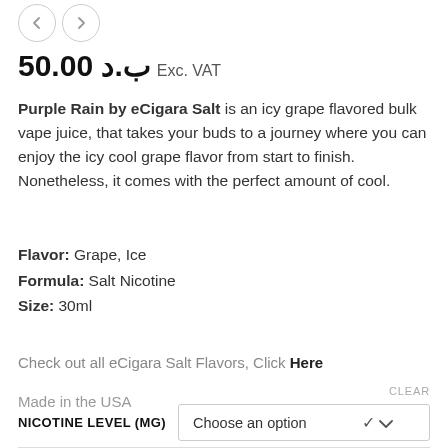[Figure (other): Navigation arrows (left and right) as circular buttons]
50.00 ب.د Exc. VAT
Purple Rain by eCigara Salt is an icy grape flavored bulk vape juice, that takes your buds to a journey where you can enjoy the icy cool grape flavor from start to finish. Nonetheless, it comes with the perfect amount of cool.
Flavor: Grape, Ice
Formula: Salt Nicotine
Size: 30ml
Check out all eCigara Salt Flavors, Click Here
Made in the USA
CLEAR
NICOTINE LEVEL (MG)
Choose an option